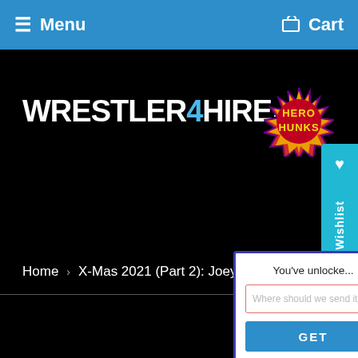≡ Menu   Cart
[Figure (logo): Wrestler4Hire.com logo in white and blue on black background, with HeroHunks starburst badge]
[Figure (other): My Wishlist vertical sidebar tab in cyan]
Home › X-Mas 2021 (Part 2): Joey M
[Figure (screenshot): Popup modal with text 'You've unlock', email input 'Where should we send it?', and blue GET button]